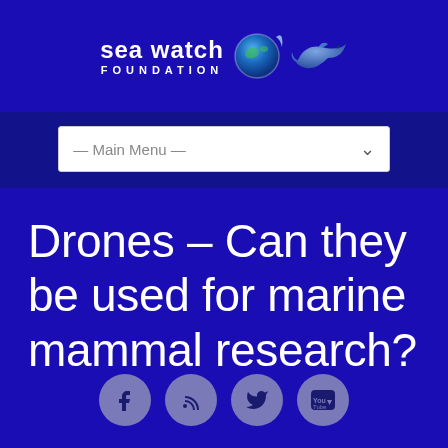[Figure (logo): Sea Watch Foundation logo with globe and dolphin icons]
[Figure (screenshot): Navigation dropdown menu showing '— Main Menu —']
Drones – Can they be used for marine mammal research?
[Figure (infographic): Social media icons row: Facebook, RSS, Twitter, YouTube]